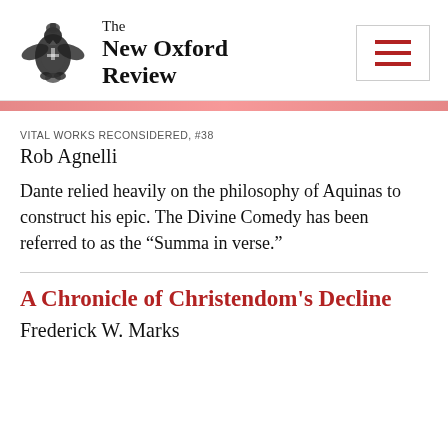The New Oxford Review
VITAL WORKS RECONSIDERED, #38
Rob Agnelli
Dante relied heavily on the philosophy of Aquinas to construct his epic. The Divine Comedy has been referred to as the “Summa in verse.”
A Chronicle of Christendom's Decline
Frederick W. Marks